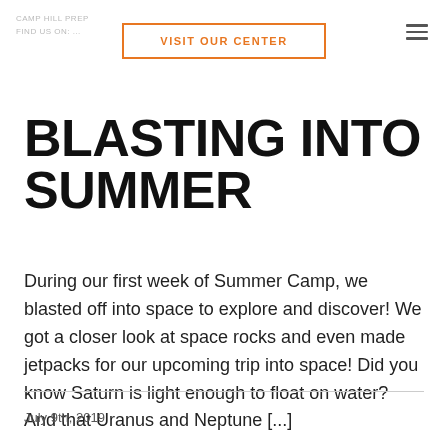VISIT OUR CENTER
BLASTING INTO SUMMER
During our first week of Summer Camp, we blasted off into space to explore and discover! We got a closer look at space rocks and even made jetpacks for our upcoming trip into space! Did you know Saturn is light enough to float on water? And that Uranus and Neptune [...]
July 9th, 2019